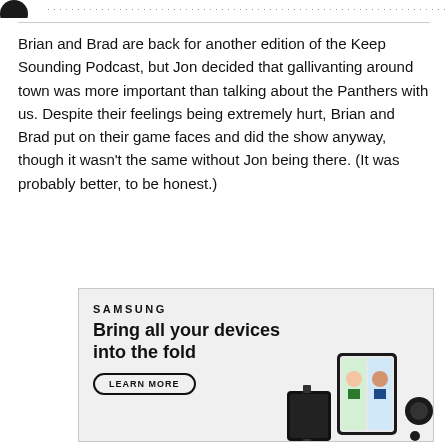Brian and Brad are back for another edition of the Keep Sounding Podcast, but Jon decided that gallivanting around town was more important than talking about the Panthers with us. Despite their feelings being extremely hurt, Brian and Brad put on their game faces and did the show anyway, though it wasn't the same without Jon being there. (It was probably better, to be honest.)
[Figure (advertisement): Samsung advertisement with text 'SAMSUNG', 'Bring all your devices into the fold', a 'LEARN MORE' button, and product images of Samsung devices including a foldable phone with people on a video call.]